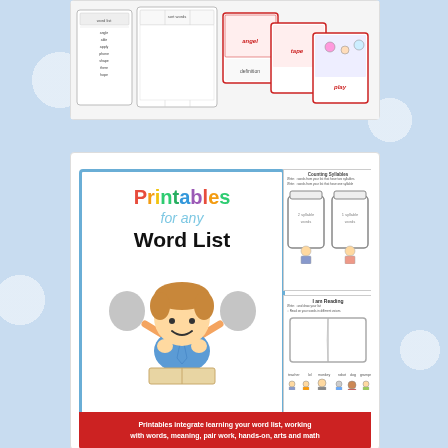[Figure (photo): Educational flashcards and word list cards showing words like angel, tape, play with images]
[Figure (illustration): Product cover for 'Printables for any Word List' showing a cartoon boy reading, with sample worksheets for counting syllables and I am Reading activities. Red banner at bottom reads: Printables integrate learning your word list, working with words, meaning, pair work, hands-on, arts and math]